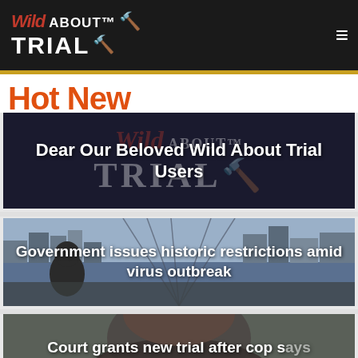Wild About Trial
Hot New
[Figure (photo): Dark banner with Wild About Trial logo watermark. Text overlay reads: Dear Our Beloved Wild About Trial Users]
Dear Our Beloved Wild About Trial Users
[Figure (photo): Photo of person on bridge with city skyline background. Text overlay reads: Government issues historic restrictions amid virus outbreak]
Government issues historic restrictions amid virus outbreak
[Figure (photo): Close-up photo of a person's face. Text overlay reads: Court grants new trial after cop says Somalis tend to lie]
Court grants new trial after cop says Somalis tend to lie